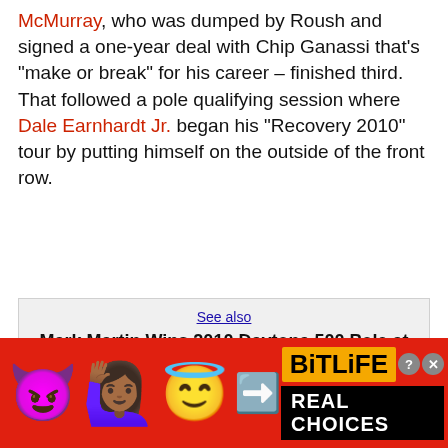McMurray, who was dumped by Roush and signed a one-year deal with Chip Ganassi that's "make or break" for his career – finished third. That followed a pole qualifying session where Dale Earnhardt Jr. began his "Recovery 2010" tour by putting himself on the outside of the front row.
See also
Mark Martin Wins 2010 Daytona 500 Pole at Alan Gustafson's Home Track
Get the picture? As Denny Hamlin told us today, "Daytona means nothing as far as the..."
[Figure (advertisement): BitLife Real Choices advertisement banner with emoji characters (devil, woman, angel) on red background with yellow BitLife logo and black Real Choices text]